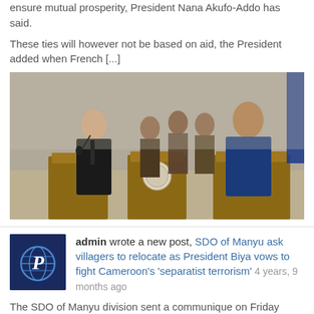ensure mutual prosperity, President Nana Akufo-Addo has said.
These ties will however not be based on aid, the President added when French [...]
[Figure (photo): Two men standing at wooden podiums at a press conference. The man on the left wears a dark suit, the man on the right wears a blue suit. A military officer and other attendees stand in the background. A Ghanaian national emblem is visible on the central podium. A blue flag is partially visible on the right.]
admin wrote a new post, SDO of Manyu ask villagers to relocate as President Biya vows to fight Cameroon's 'separatist terrorism' 4 years, 9 months ago
The SDO of Manyu division sent a communique on Friday asking villagers in the affected areas of